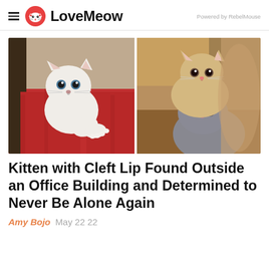LoveMeow — Powered by RebelMouse
[Figure (photo): Two-panel photo: left panel shows a small white kitten with cleft lip being held against a red sweater; right panel shows a beige/cream kitten and a grey kitten cuddled together.]
Kitten with Cleft Lip Found Outside an Office Building and Determined to Never Be Alone Again
Amy Bojo  May 22 22